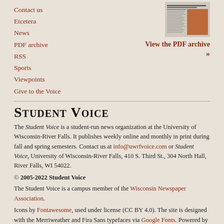Contact us
Etcetera
News
PDF archive
RSS
Sports
Viewpoints
Give to the Voice
[Figure (photo): Thumbnail of a newspaper front page with headline about 18th Annual Ag Day on campus bringing animals and leaders]
View the PDF archive »
Student Voice
The Student Voice is a student-run news organization at the University of Wisconsin-River Falls. It publishes weekly online and monthly in print during fall and spring semesters. Contact us at info@uwrfvoice.com or Student Voice, University of Wisconsin-River Falls, 410 S. Third St., 304 North Hall, River Falls, WI 54022.
© 2005-2022 Student Voice
The Student Voice is a campus member of the Wisconsin Newspaper Association.
Icons by Fontawesome, used under license (CC BY 4.0). The site is designed with the Merriweather and Fira Sans typefaces via Google Fonts. Powered by WordPress. Weather observations are via the National Weather Service at Red Wing Regional Airport in Pierce County, Wisconsin.